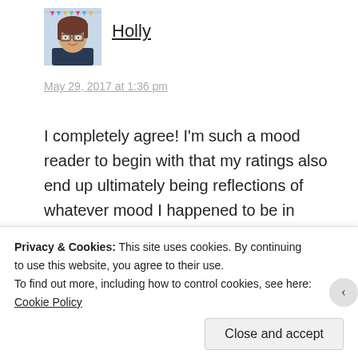[Figure (photo): Profile photo of Holly, a woman with glasses and brown hair, wearing a dark top, against a light background with decorative bunting.]
Holly
May 29, 2017 at 1:36 pm
I completely agree! I'm such a mood reader to begin with that my ratings also end up ultimately being reflections of whatever mood I happened to be in when I read the book.
★ Liked by 1 person
Privacy & Cookies: This site uses cookies. By continuing to use this website, you agree to their use.
To find out more, including how to control cookies, see here: Cookie Policy
Close and accept